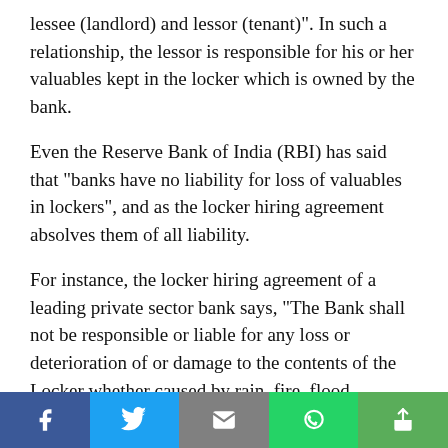lessee (landlord) and lessor (tenant)". In such a relationship, the lessor is responsible for his or her valuables kept in the locker which is owned by the bank.
Even the Reserve Bank of India (RBI) has said that "banks have no liability for loss of valuables in lockers", and as the locker hiring agreement absolves them of all liability.
For instance, the locker hiring agreement of a leading private sector bank says, "The Bank shall not be responsible or liable for any loss or deterioration of or damage to the contents of the Locker whether caused by rain, fire, flood, earthquake, lightening, civil commotion, war, riot or any other cause/s not in the control of the Bank and shall be not liable...
[Figure (other): Social share bar with Facebook, Twitter, Email, WhatsApp, and Share buttons]